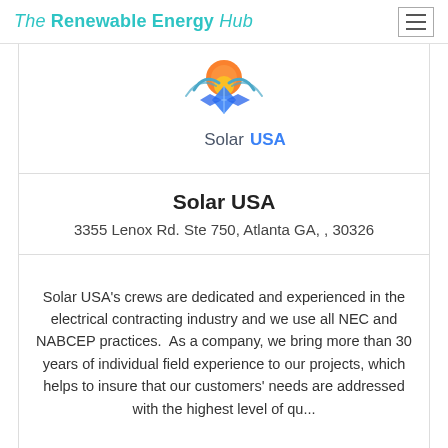The Renewable Energy Hub
[Figure (logo): Solar USA company logo with sun and solar panel graphic above text 'Solar USA']
Solar USA
3355 Lenox Rd. Ste 750, Atlanta GA, , 30326
Solar USA's crews are dedicated and experienced in the electrical contracting industry and we use all NEC and NABCEP practices.  As a company, we bring more than 30 years of individual field experience to our projects, which helps to insure that our customers' needs are addressed with the highest level of qu...
96.89